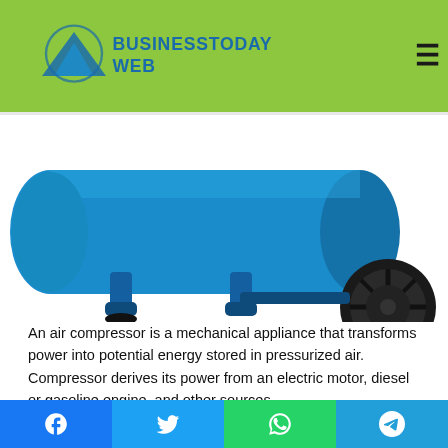BusinessTodayWeb
[Figure (photo): Blue horizontal air compressor tank with black wheels and blue support legs on white background, partial view showing tank body, legs, and one large wheel]
An air compressor is a mechanical appliance that transforms power into potential energy stored in pressurized air. Compressor derives its power from an electric motor, diesel or gasoline engine, and other sources.
This article will oversee different specifications considered when buying.
Since there are various types of compressor machines
Facebook | Twitter | WhatsApp | Telegram